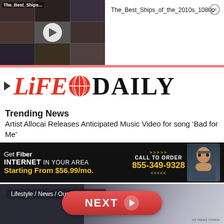[Figure (screenshot): Video thumbnail grid showing movie/TV scenes with play button overlay, labeled 'The_Best_Ships...']
The_Best_Ships_of_the_2010s_1080p
[Figure (logo): Life Daily logo with red stylized LIFE text, globe icon, and black DAILY text]
Trending News
Artist Allocai Releases Anticipated Music Video for song ‘Bad for Me’
[Figure (infographic): Advertisement: Get Fiber INTERNET IN YOUR AREA Starting From $56.99/mo. CALL TO ORDER 855-349-9328]
[Figure (screenshot): Bottom section showing partial photo of blonde person with category label 'Lifestyle / News / Our Obsessions']
NEXT
on Newz Online